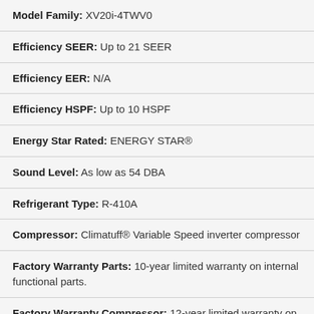| Model Family: XV20i-4TWV0 |
| Efficiency SEER: Up to 21 SEER |
| Efficiency EER: N/A |
| Efficiency HSPF: Up to 10 HSPF |
| Energy Star Rated: ENERGY STAR® |
| Sound Level: As low as 54 DBA |
| Refrigerant Type: R-410A |
| Compressor: Climatuff® Variable Speed inverter compressor |
| Factory Warranty Parts: 10-year limited warranty on internal functional parts. |
| Factory Warranty Compressor: 12-year limited warranty on compressor. |